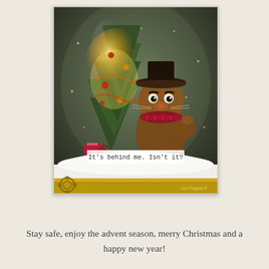[Figure (photo): A snow globe scene inside a glass dome containing a grumpy-looking illustrated cat wearing a top hat and scarf, sitting in front of a glowing Christmas tree with fairy lights and gifts. White artificial snow on the base. A label inside reads 'It's behind me. Isn't it?' A small gear is visible at the bottom left. Watermark 'Von Pappa' at bottom right.]
Stay safe, enjoy the advent season, merry Christmas and a happy new year!